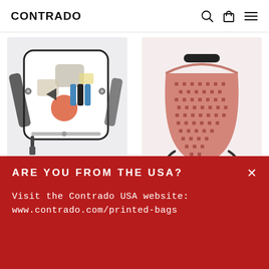CONTRADO
[Figure (photo): Messenger bag with abstract colorful print on light gray background]
MESSENGER BAGS
£74.00
[Figure (photo): Drawstring backpack with pink/red geometric diamond pattern print]
DRAWSTRING BACKPACK
£250.00
ARE YOU FROM THE USA?
Visit the Contrado USA website:
www.contrado.com/printed-bags